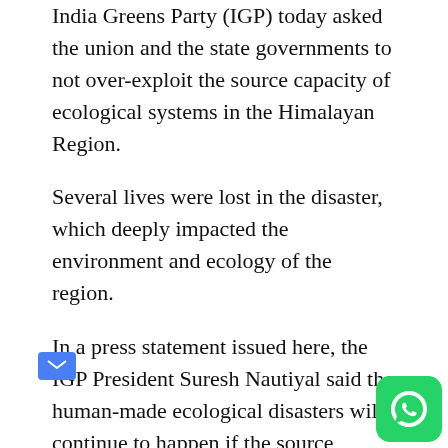India Greens Party (IGP) today asked the union and the state governments to not over-exploit the source capacity of ecological systems in the Himalayan Region.
Several lives were lost in the disaster, which deeply impacted the environment and ecology of the region.
In a press statement issued here, the IGP President Suresh Nautiyal said the human-made ecological disasters will continue to happen if the source capacities of ecosystems are over-exploited.
“Ecologically fragile and volatile state of Uttarakhand is an example which has been experiencing human-made disasters again and again. The India Greens Party and several other sane voices have been raising doubts and asking the governments to stop hydroelectric projects in the state to conserve environment and save ecology; but, the governments